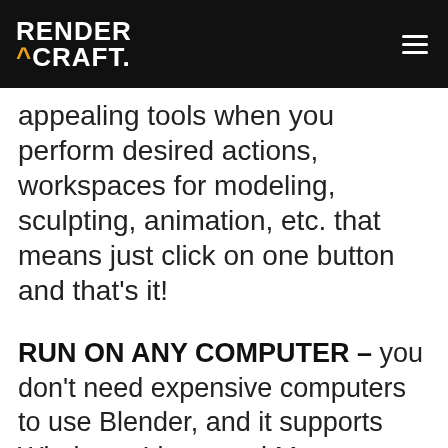RENDER CRAFT.
appealing tools when you perform desired actions, workspaces for modeling, sculpting, animation, etc. that means just click on one button and that’s it!
RUN ON ANY COMPUTER – you don’t need expensive computers to use Blender, and it supports Windows, Linux, and Mac